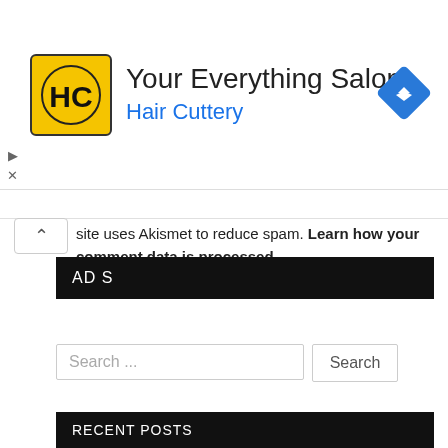[Figure (logo): Hair Cuttery ad banner with HC logo in yellow/black square, title 'Your Everything Salon', subtitle 'Hair Cuttery' in blue, and a blue navigation/directions diamond icon on the right]
site uses Akismet to reduce spam. Learn how your comment data is processed.
ADS
[Figure (screenshot): Search bar with placeholder text 'Search ...' and a Search button]
RECENT POSTS